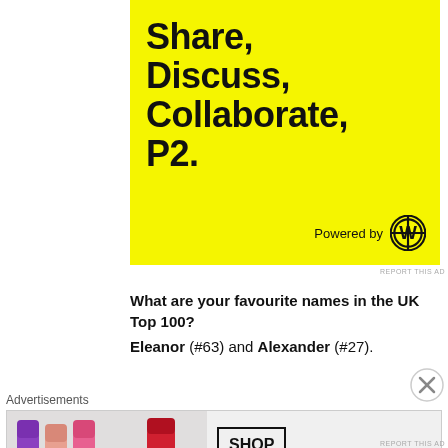[Figure (illustration): Yellow advertisement banner for P2 (WordPress product) with bold black text reading 'Share, Discuss, Collaborate, P2.' and 'Powered by WordPress' at the bottom right with WordPress logo.]
REPORT THIS AD
What are your favourite names in the UK Top 100?
Eleanor (#63) and Alexander (#27).
Advertisements
[Figure (photo): MAC Cosmetics advertisement banner showing colorful lipsticks (purple, peach, pink, red) on the left, MAC brand name in italic, and a 'SHOP NOW' box on the right.]